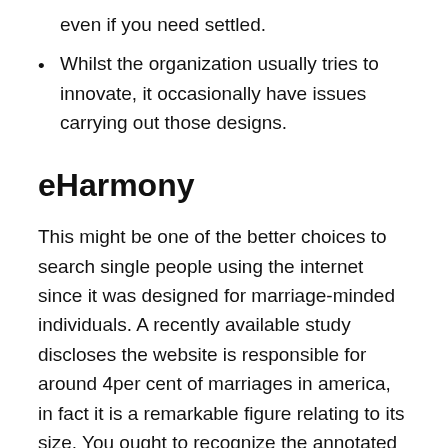even if you need settled.
Whilst the organization usually tries to innovate, it occasionally have issues carrying out those designs.
eHarmony
This might be one of the better choices to search single people using the internet since it was designed for marriage-minded individuals. A recently available study discloses the website is responsible for around 4per cent of marriages in america, in fact it is a remarkable figure relating to its size. You ought to recognize the annotated following: most unmarried women aren't likely to listing such things as a€?want relaxed sex.a€?